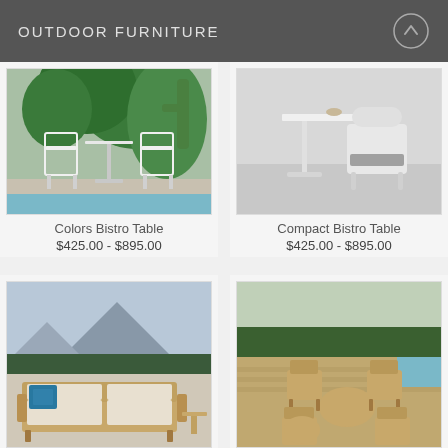OUTDOOR FURNITURE
[Figure (photo): Outdoor bistro table with two white chairs in a garden setting with cacti and tropical plants]
[Figure (photo): Compact white bistro table with one white chair on a gray floor]
Colors Bistro Table
$425.00 - $895.00
Compact Bistro Table
$425.00 - $895.00
[Figure (photo): Wooden outdoor sofa with white cushions and blue patterned pillow, set against a mountain landscape]
[Figure (photo): Teak outdoor dining set with chairs and round tables on a deck by a pool, green trees in background]